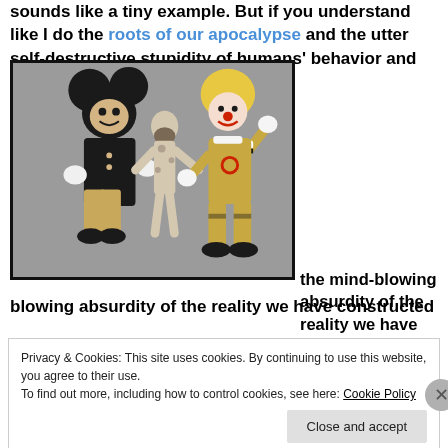sounds like a tiny example. But if you understand like I do the roots of our apocalypse and the utter self-destructive stupidity of humans' behavior and
[Figure (illustration): Banksy-style illustration on grey background showing Mickey Mouse character, a nude human figure, and Ronald McDonald character holding hands and walking together]
the mind-blowing absurdity of the reality we have constructed
Privacy & Cookies: This site uses cookies. By continuing to use this website, you agree to their use.
To find out more, including how to control cookies, see here: Cookie Policy
Close and accept